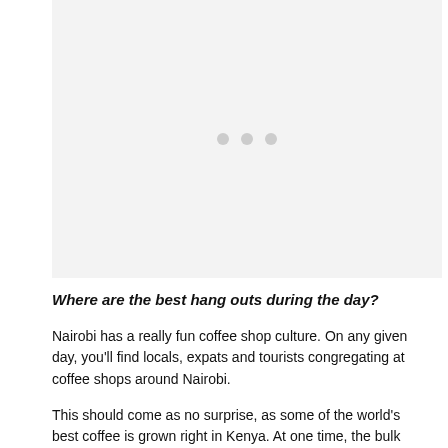[Figure (other): A light gray image placeholder with three small gray dots centered in the middle, indicating an image that has not loaded.]
Where are the best hang outs during the day?
Nairobi has a really fun coffee shop culture. On any given day, you'll find locals, expats and tourists congregating at coffee shops around Nairobi.
This should come as no surprise, as some of the world's best coffee is grown right in Kenya. At one time, the bulk